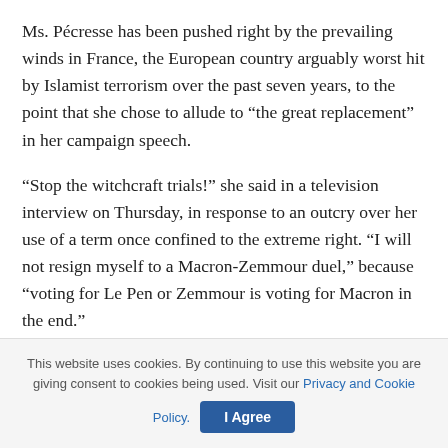Ms. Pécresse has been pushed right by the prevailing winds in France, the European country arguably worst hit by Islamist terrorism over the past seven years, to the point that she chose to allude to “the great replacement” in her campaign speech.
“Stop the witchcraft trials!” she said in a television interview on Thursday, in response to an outcry over her use of a term once confined to the extreme right. “I will not resign myself to a Macron-Zemmour duel,” because “voting for Le Pen or Zemmour is voting for Macron in the end.”
There have been two President Macrons. The first sought to reinvent the French state-centric model through changes in the labyrinthine labor law that made it easier for employees to fire
This website uses cookies. By continuing to use this website you are giving consent to cookies being used. Visit our Privacy and Cookie Policy.  I Agree